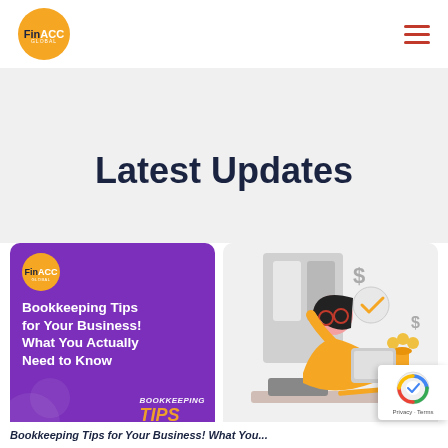[Figure (logo): FinACC Global logo — orange circle with 'Fin' in dark navy and 'ACC' in white text, 'GLOBAL' below in small white letters]
Latest Updates
[Figure (illustration): Purple promotional card with FinACC Global logo and text 'Bookkeeping Tips for Your Business! What You Actually Need to Know' with orange TIPS badge at bottom right]
[Figure (illustration): Illustration of a woman in orange sweater sitting at a desk with a tablet, dollar signs and a checkmark in a circle in the background]
Bookkeeping Tips for Your Business! What You...